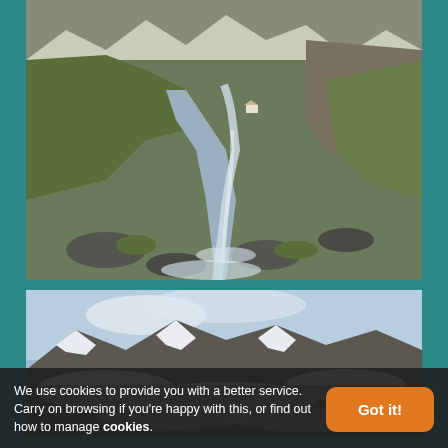[Figure (photo): Mountain stream flowing through rocky alpine valley with green grassy slopes and rocky terrain. A small building visible in the background. Snow patches on distant peaks.]
[Figure (photo): Snow-covered mountain landscape with rocky peaks and patches of snow on lower slopes under a partly cloudy sky. A copy/expand icon is visible in the upper right of the image.]
We use cookies to provide you with a better service. Carry on browsing if you're happy with this, or find out how to manage cookies.